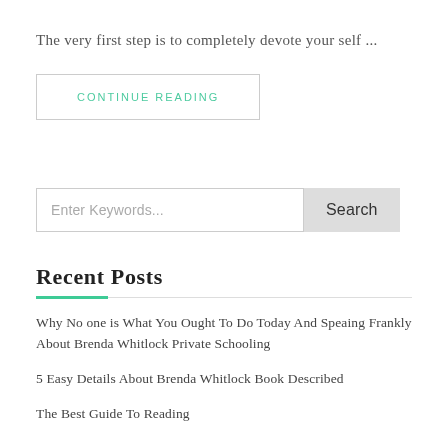The very first step is to completely devote your self ...
CONTINUE READING
Enter Keywords...
Search
Recent Posts
Why No one is What You Ought To Do Today And Speaing Frankly About Brenda Whitlock Private Schooling
5 Easy Details About Brenda Whitlock Book Described
The Best Guide To Reading